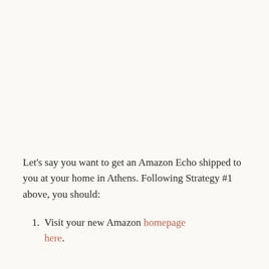Let's say you want to get an Amazon Echo shipped to you at your home in Athens. Following Strategy #1 above, you should:
Visit your new Amazon homepage here.